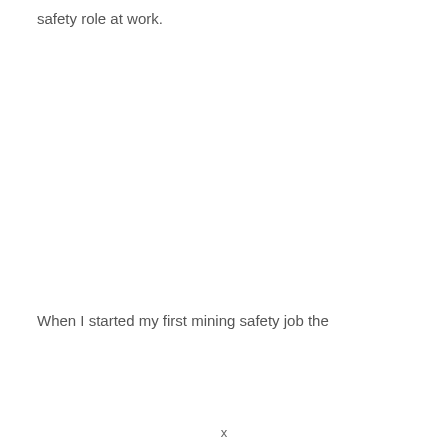safety role at work.
When I started my first mining safety job the
x